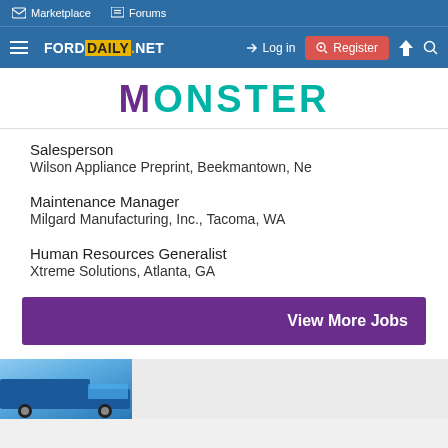Marketplace  Forums
FORDDAILY.NET  Log in  Register
[Figure (logo): Monster job board logo with purple M and teal ONSTER text]
Salesperson
Wilson Appliance Preprint, Beekmantown, Ne
Maintenance Manager
Milgard Manufacturing, Inc., Tacoma, WA
Human Resources Generalist
Xtreme Solutions, Atlanta, GA
View More Jobs